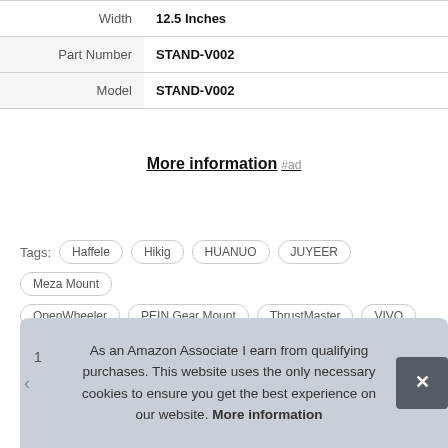| Width | 12.5 Inches |
| Part Number | STAND-V002 |
| Model | STAND-V002 |
More information #ad
Tags: Haffele  Hikig  HUANUO  JUYEER  Meza Mount  OpenWheeler  PEIN Gear Mount  ThrustMaster  VIVO
As an Amazon Associate I earn from qualifying purchases. This website uses the only necessary cookies to ensure you get the best experience on our website. More information